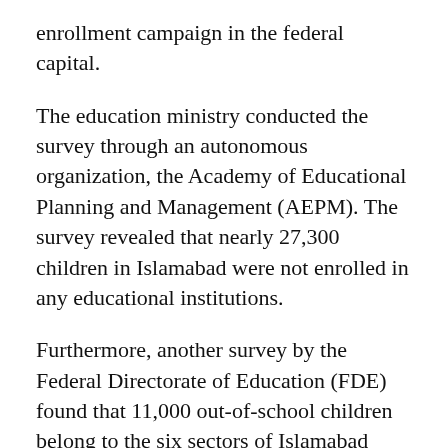enrollment campaign in the federal capital.
The education ministry conducted the survey through an autonomous organization, the Academy of Educational Planning and Management (AEPM). The survey revealed that nearly 27,300 children in Islamabad were not enrolled in any educational institutions.
Furthermore, another survey by the Federal Directorate of Education (FDE) found that 11,000 out-of-school children belong to the six sectors of Islamabad including Urban-1 and Urban-2, Sihala, Nilor, Bara Kahu, and Tarnol.
The data was sent to the related federal schools while the directorate traced the whereabouts of